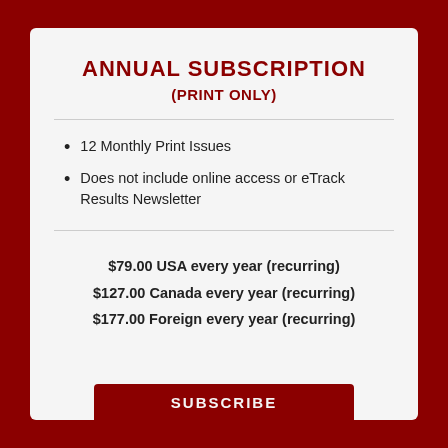ANNUAL SUBSCRIPTION (PRINT ONLY)
12 Monthly Print Issues
Does not include online access or eTrack Results Newsletter
$79.00 USA every year (recurring)
$127.00 Canada every year (recurring)
$177.00 Foreign every year (recurring)
SUBSCRIBE